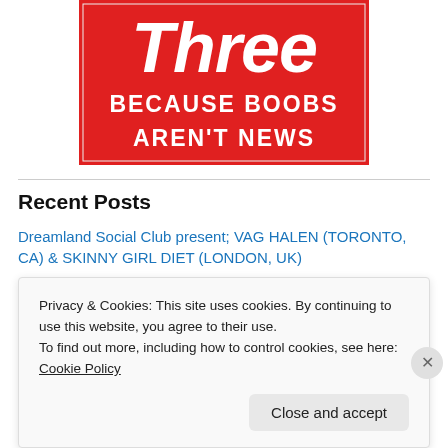[Figure (logo): Red banner logo reading 'Three BECAUSE BOOBS AREN'T NEWS' in white text on red background]
Recent Posts
Dreamland Social Club present; VAG HALEN (TORONTO, CA) & SKINNY GIRL DIET (LONDON, UK)
Let's Start a Pussy Riot launch 100 Days of Activism
I STAND WITH BARR WEBB
Privacy & Cookies: This site uses cookies. By continuing to use this website, you agree to their use.
To find out more, including how to control cookies, see here: Cookie Policy